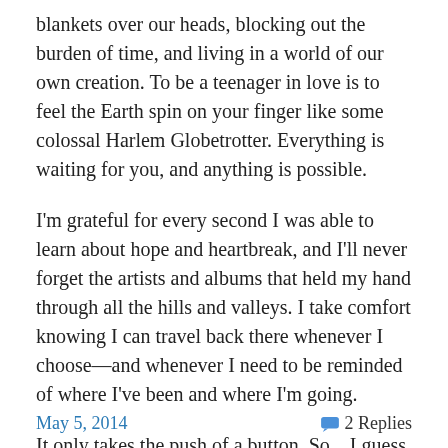blankets over our heads, blocking out the burden of time, and living in a world of our own creation. To be a teenager in love is to feel the Earth spin on your finger like some colossal Harlem Globetrotter. Everything is waiting for you, and anything is possible.
I'm grateful for every second I was able to learn about hope and heartbreak, and I'll never forget the artists and albums that held my hand through all the hills and valleys. I take comfort knowing I can travel back there whenever I choose—and whenever I need to be reminded of where I've been and where I'm going.
It only takes the push of a button. So…I guess I'll hear you soon.
May 5, 2014    2 Replies